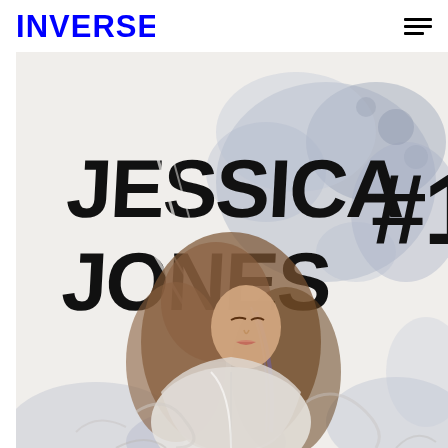INVERSE
[Figure (illustration): Jessica Jones #1 comic book cover featuring a watercolor-style illustration of a woman with long flowing brown hair wearing a white jacket, with a grey/blue abstract background. The title 'JESSICA JONES' appears in large bold black letters in the upper portion, with '#1' in large bold text in the upper right corner.]